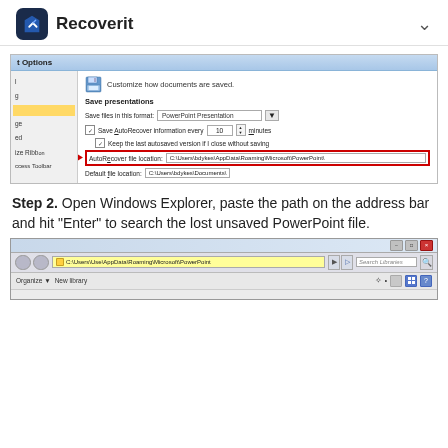Recoverit
[Figure (screenshot): PowerPoint Options dialog showing Save settings with AutoRecover file location highlighted with a red box and red arrow: C:\Users\bdykes\AppData\Roaming\Microsoft\PowerPoint\]
Step 2. Open Windows Explorer, paste the path on the address bar and hit "Enter" to search the lost unsaved PowerPoint file.
[Figure (screenshot): Windows Explorer address bar with C:\Users\Use\AppData\Roaming\Microsoft\PowerPoint highlighted in yellow, with Organize and New library toolbar buttons visible]